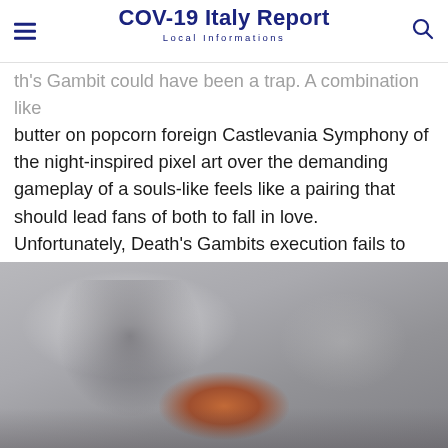COV-19 Italy Report
Local Informations
th's Gambit could have been a trap. A combination like butter on popcorn foreign Castlevania Symphony of the night-inspired pixel art over the demanding gameplay of a souls-like feels like a pairing that should lead fans of both to fall in love. Unfortunately, Death's Gambits execution fails to fully realize its buttery premise though this 2d action game achieves an unsettling horror vibe and features some cool art it can become confusing and frustrating and not in a fun way like Dark Souls or Blood-Borne.
[Figure (photo): Dark misty game artwork showing an orange glowing figure amid smoke and shadows, appearing to be from the game Death's Gambit.]